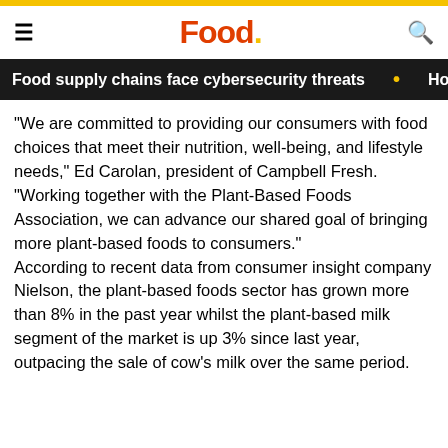Food.
Food supply chains face cybersecurity threats • Hoteli…
“We are committed to providing our consumers with food choices that meet their nutrition, well-being, and lifestyle needs,” Ed Carolan, president of Campbell Fresh.
“Working together with the Plant-Based Foods Association, we can advance our shared goal of bringing more plant-based foods to consumers.”
According to recent data from consumer insight company Nielson, the plant-based foods sector has grown more than 8% in the past year whilst the plant-based milk segment of the market is up 3% since last year, outpacing the sale of cow’s milk over the same period.